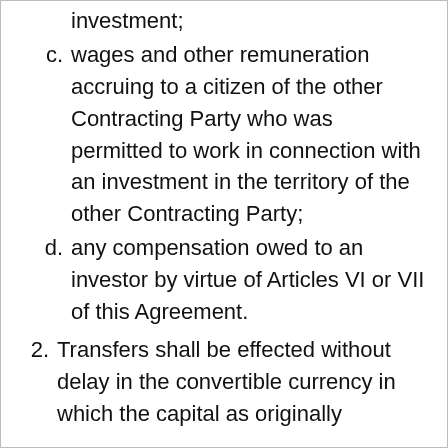investment;
c. wages and other remuneration accruing to a citizen of the other Contracting Party who was permitted to work in connection with an investment in the territory of the other Contracting Party;
d. any compensation owed to an investor by virtue of Articles VI or VII of this Agreement.
2. Transfers shall be effected without delay in the convertible currency in which the capital as originally